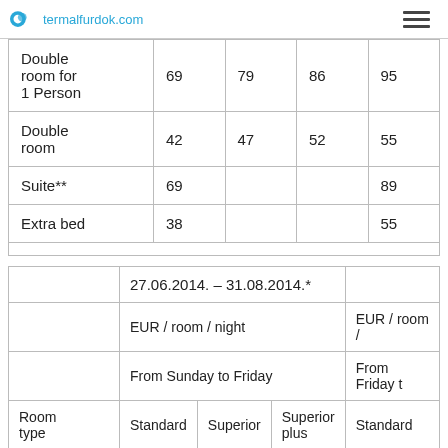termalfurdok.com
| Room type | Col1 | Col2 | Col3 | Col4 |
| --- | --- | --- | --- | --- |
| Double room for 1 Person | 69 | 79 | 86 | 95 |
| Double room | 42 | 47 | 52 | 55 |
| Suite** | 69 |  |  | 89 |
| Extra bed | 38 |  |  | 55 |
|  | 27.06.2014. – 31.08.2014.* |
| --- | --- |
|  | EUR / room / night |  |  | EUR / room / |
|  | From Sunday to Friday |  |  | From Friday t |
| Room type | Standard | Superior | Superior plus | Standard | S |